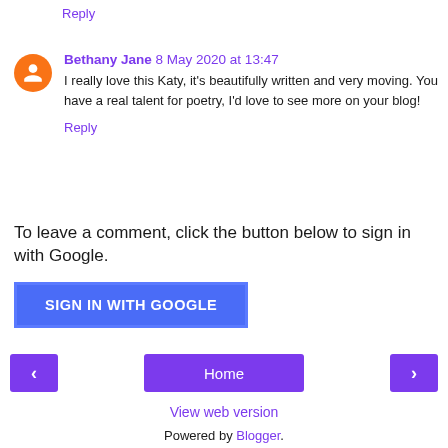Reply
Bethany Jane 8 May 2020 at 13:47
I really love this Katy, it's beautifully written and very moving. You have a real talent for poetry, I'd love to see more on your blog!
Reply
To leave a comment, click the button below to sign in with Google.
[Figure (other): SIGN IN WITH GOOGLE button - blue rectangular button with white uppercase text]
[Figure (other): Navigation bar with purple left arrow button, purple Home button, and purple right arrow button]
View web version
Powered by Blogger.